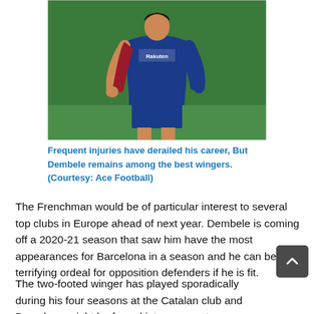[Figure (photo): A Barcelona footballer wearing the blue and red striped Barcelona kit with Rakuten sponsor, running on a green pitch. The player is shown from the torso down.]
Frequent injuries have derailed his career, But Dembele remains among the best wingers. (Courtesy: Ace Football)
The Frenchman would be of particular interest to several top clubs in Europe ahead of next year. Dembele is coming off a 2020-21 season that saw him have the most appearances for Barcelona in a season and he can be a terrifying ordeal for opposition defenders if he is fit.
The two-footed winger has played sporadically during his four seasons at the Catalan club and Barcelona might be forced into a premature decision, especially if the right offer comes for his...